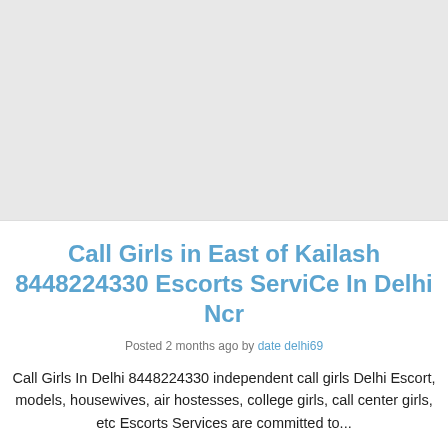Call Girls in East of Kailash 8448224330 Escorts ServiCe In Delhi Ncr
Posted 2 months ago by date delhi69
Call Girls In Delhi 8448224330 independent call girls Delhi Escort, models, housewives, air hostesses, college girls, call center girls, etc Escorts Services are committed to...
Independent Escorts / Delhi / 133 views